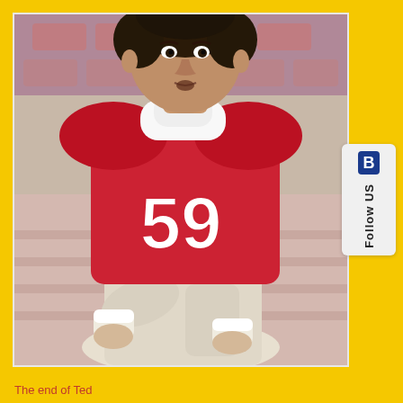[Figure (photo): A young football player in a red jersey with number 59 and white pants, sitting in stadium bleachers. He has dark curly hair and is wearing white wrist wraps. The photo appears to be from the 1970s or early 1980s.]
The end of Ted